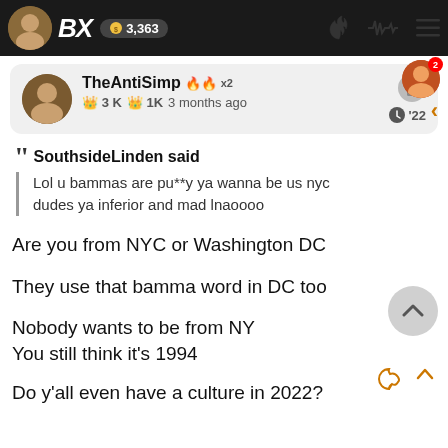BX 3,363
TheAntiSimp 🔥🔥 x2 | 3K 1K 3 months ago | '22
SouthsideLinden said
Lol u bammas are pu**y ya wanna be us nyc dudes ya inferior and mad lnaoooo
Are you from NYC or Washington DC
They use that bamma word in DC too
Nobody wants to be from NY
You still think it's 1994
Do y'all even have a culture in 2022?